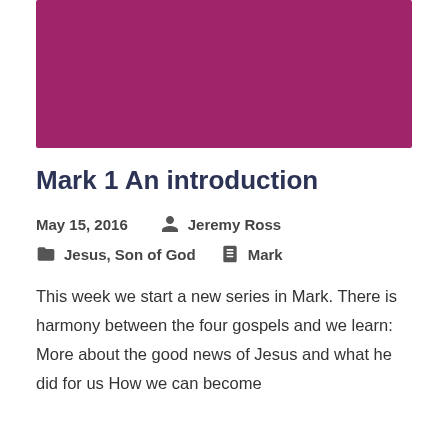[Figure (illustration): A solid dark magenta/purple-pink colored rectangular banner image serving as a hero image header.]
Mark 1 An introduction
May 15, 2016     Jeremy Ross
Jesus, Son of God     Mark
This week we start a new series in Mark. There is harmony between the four gospels and we learn: More about the good news of Jesus and what he did for us How we can become